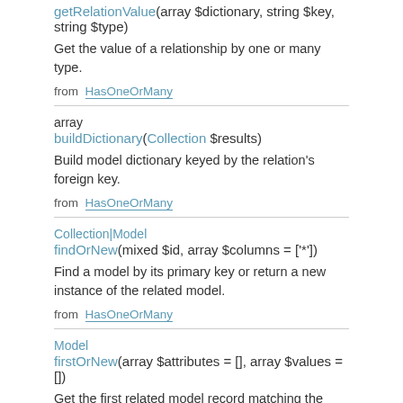getRelationValue(array $dictionary, string $key, string $type)
Get the value of a relationship by one or many type.
from HasOneOrMany
array buildDictionary(Collection $results)
Build model dictionary keyed by the relation's foreign key.
from HasOneOrMany
Collection|Model findOrNew(mixed $id, array $columns = ['*'])
Find a model by its primary key or return a new instance of the related model.
from HasOneOrMany
Model firstOrNew(array $attributes = [], array $values = [])
Get the first related model record matching the attributes or instantiate it.